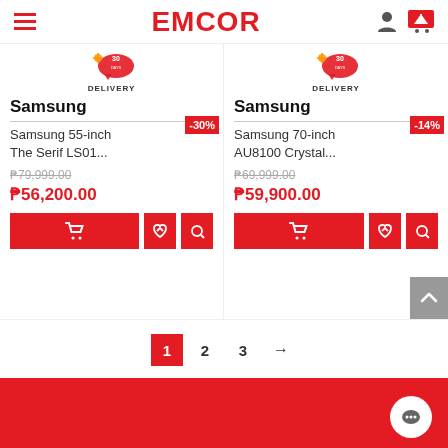EMCOR
[Figure (screenshot): Two product cards for Samsung TVs with delivery badges, pricing, and action buttons]
Samsung | Samsung 55-inch The Serif LS01... | P79,999.00 | P56,200.00 | -30%
Samsung | Samsung 70-inch AU8100 Crystal... | P69,999.00 | P59,900.00 | -14%
1  2  3  →